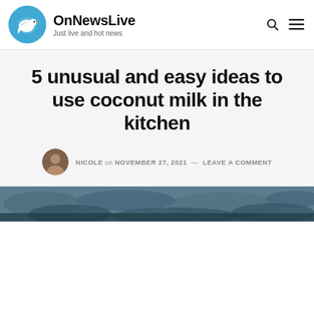OnNewsLive — Just live and hot news
5 unusual and easy ideas to use coconut milk in the kitchen
NICOLE on NOVEMBER 27, 2021 — LEAVE A COMMENT
[Figure (photo): Dark moody nature scene, blueish-grey foliage texture, partial view at bottom of page]